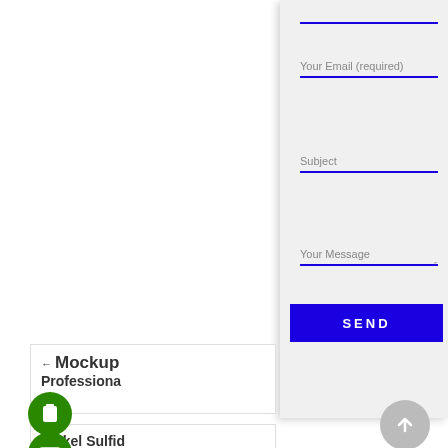DIAGNOSTI
DIAGNOSTIC W
WINDOW CERT
WINDOW LABO
[Figure (screenshot): Contact form with fields: Your Email (required), Subject, Your Message, and a SEND button on a light gray background]
← Mockup
Professiona
Nickel Sulfide
eakage →
[Figure (screenshot): Green circular phone icon button]
[Figure (screenshot): Green circular email icon button]
[Figure (screenshot): Gray circular up-arrow button]